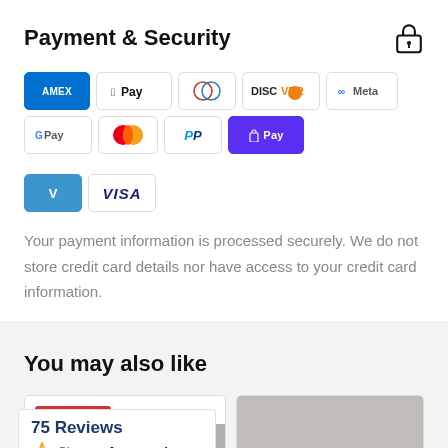Payment & Security
[Figure (infographic): Payment method icons: American Express, Apple Pay, Diners Club, Discover, Meta Pay, Google Pay, Mastercard, PayPal, Shop Pay, Venmo, Visa]
Your payment information is processed securely. We do not store credit card details nor have access to your credit card information.
You may also like
[Figure (photo): Product card with Save $15 badge and product image, partially visible]
[Figure (photo): Second product card with image, partially visible]
[Figure (infographic): Shopper Approved widget showing 75 Reviews with star logo]